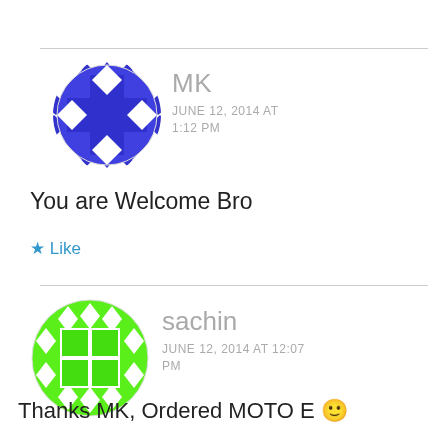[Figure (illustration): Purple avatar with diamond/cross pattern for user MK]
MK
JUNE 12, 2014 AT 1:12 PM
You are Welcome Bro
★ Like
[Figure (illustration): Green avatar with diamond/grid pattern for user sachin]
sachin
JUNE 12, 2014 AT 12:07 PM
Thanks MK, Ordered MOTO E 🙂